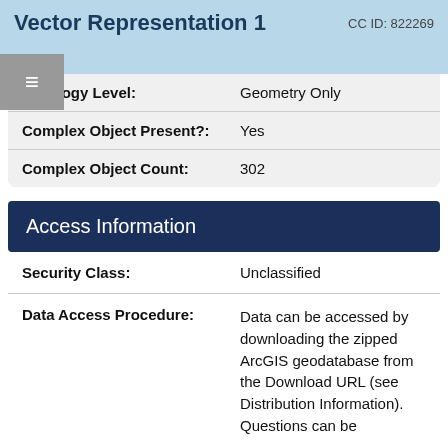Vector Representation 1  CC ID: 822269
| Property | Value |
| --- | --- |
| Topology Level: | Geometry Only |
| Complex Object Present?: | Yes |
| Complex Object Count: | 302 |
Access Information
| Property | Value |
| --- | --- |
| Security Class: | Unclassified |
| Data Access Procedure: | Data can be accessed by downloading the zipped ArcGIS geodatabase from the Download URL (see Distribution Information). Questions can be |